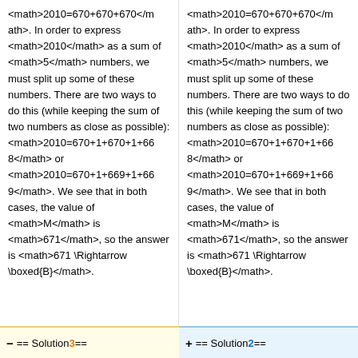<math>2010=670+670+670</math>. In order to express <math>2010</math> as a sum of <math>5</math> numbers, we must split up some of these numbers. There are two ways to do this (while keeping the sum of two numbers as close as possible): <math>2010=670+1+670+1+668</math> or <math>2010=670+1+669+1+669</math>. We see that in both cases, the value of <math>M</math> is <math>671</math>, so the answer is <math>671 \Rightarrow \boxed{B}</math>.
<math>2010=670+670+670</math>. In order to express <math>2010</math> as a sum of <math>5</math> numbers, we must split up some of these numbers. There are two ways to do this (while keeping the sum of two numbers as close as possible): <math>2010=670+1+670+1+668</math> or <math>2010=670+1+669+1+669</math>. We see that in both cases, the value of <math>M</math> is <math>671</math>, so the answer is <math>671 \Rightarrow \boxed{B}</math>.
== Solution 3 ==
== Solution 2 ==